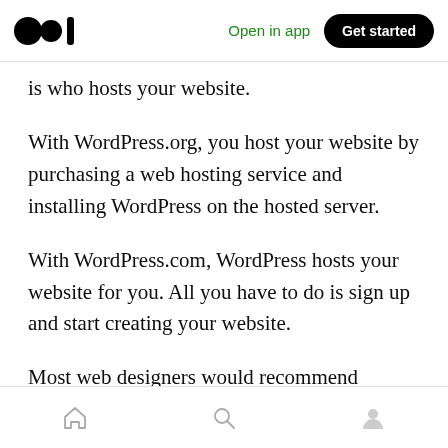Open in app | Get started
is who hosts your website.
With WordPress.org, you host your website by purchasing a web hosting service and installing WordPress on the hosted server.
With WordPress.com, WordPress hosts your website for you. All you have to do is sign up and start creating your website.
Most web designers would recommend choosing WordPress.org because while it may not be as simple as its counterpart, it allows you far
Home | Search | Profile